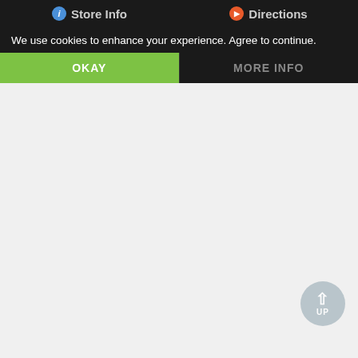Store info   Directions
We use cookies to enhance your experience. Agree to continue.
OKAY   MORE INFO
[Figure (screenshot): Light gray empty content area below the cookie consent banner]
[Figure (other): Circular UP button with upward arrow in bottom-right corner]